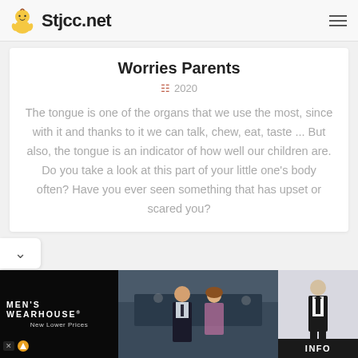Stjcc.net
Worries Parents
2020
The tongue is one of the organs that we use the most, since with it and thanks to it we can talk, chew, eat, taste ... But also, the tongue is an indicator of how well our children are. Do you take a look at this part of your little one's body often? Have you ever seen something that has upset or scared you?
[Figure (photo): Men's Wearhouse advertisement banner showing a couple in formal attire and a man in tuxedo, with 'MEN'S WEARHOUSE New Lower Prices' text and INFO button]